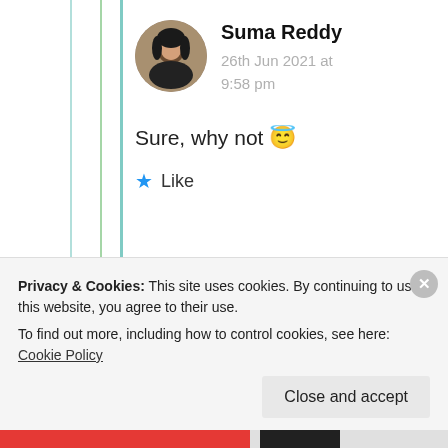[Figure (photo): Circular avatar photo of Suma Reddy, a young woman with dark hair]
Suma Reddy
26th Jun 2021 at 9:58 pm
Sure, why not 😇
★ Like
[Figure (photo): Circular avatar photo of ahmad khizar]
ahmad khizar
Privacy & Cookies: This site uses cookies. By continuing to use this website, you agree to their use.
To find out more, including how to control cookies, see here: Cookie Policy
Close and accept